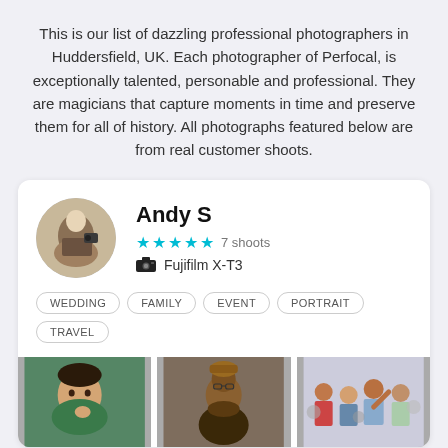This is our list of dazzling professional photographers in Huddersfield, UK. Each photographer of Perfocal, is exceptionally talented, personable and professional. They are magicians that capture moments in time and preserve them for all of history. All photographs featured below are from real customer shoots.
Andy S
★★★★★ 7 shoots
Fujifilm X-T3
WEDDING
FAMILY
EVENT
PORTRAIT
TRAVEL
[Figure (photo): Three photos of photographer Andy S's portfolio: a child, a man in traditional attire, and a crowd of people.]